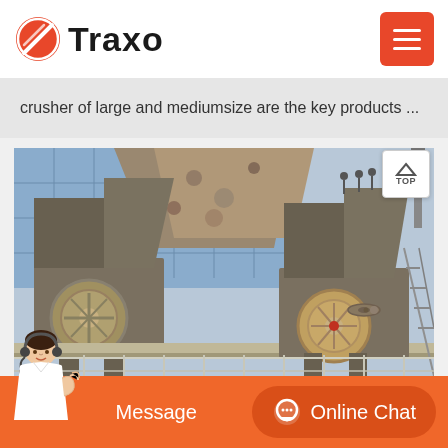Traxo
crusher of large and mediumsize are the key products ...
[Figure (photo): Industrial jaw crusher machinery photographed outdoors at a quarry or mining facility, showing two large jaw crushers with flywheels and a gravel/stone hopper in the background]
Message
Online Chat